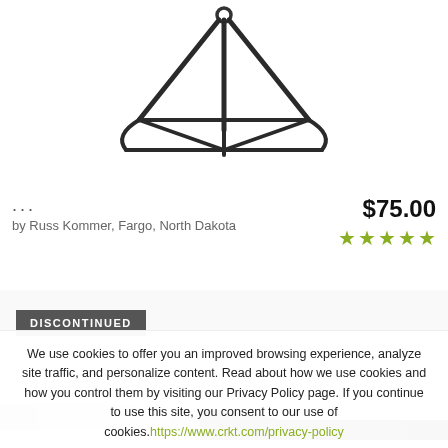[Figure (photo): Black metal knife/tool stand with tripod-like base and angular arms, photographed on white background]
...
by Russ Kommer, Fargo, North Dakota
$75.00
★★★★★
DISCONTINUED
[Figure (photo): Partial view of a folding knife with dark handle and blade]
We use cookies to offer you an improved browsing experience, analyze site traffic, and personalize content. Read about how we use cookies and how you control them by visiting our Privacy Policy page. If you continue to use this site, you consent to our use of cookies.https://www.crkt.com/privacy-policy
CLOSE
ACCEPT